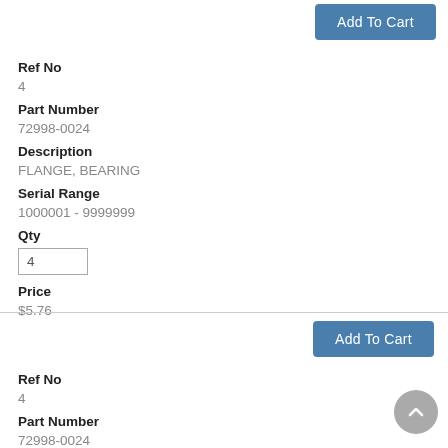Add To Cart
Ref No
4
Part Number
72998-0024
Description
FLANGE, BEARING
Serial Range
1000001 - 9999999
Qty
4
Price
$5.76
Add To Cart
Ref No
4
Part Number
72998-0024